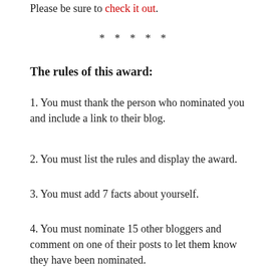Please be sure to check it out.
* * * * *
The rules of this award:
1. You must thank the person who nominated you and include a link to their blog.
2. You must list the rules and display the award.
3. You must add 7 facts about yourself.
4. You must nominate 15 other bloggers and comment on one of their posts to let them know they have been nominated.